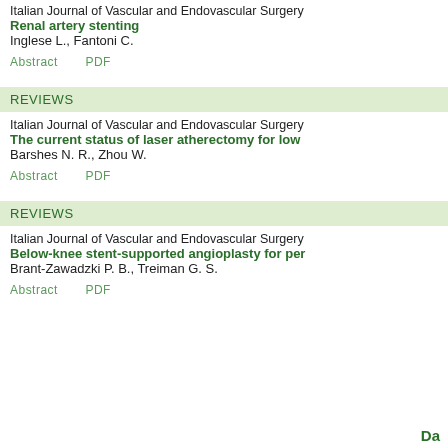Italian Journal of Vascular and Endovascular Surgery
Renal artery stenting
Inglese L., Fantoni C.
Abstract    PDF
REVIEWS
Italian Journal of Vascular and Endovascular Surgery
The current status of laser atherectomy for low
Barshes N. R., Zhou W.
Abstract    PDF
REVIEWS
Italian Journal of Vascular and Endovascular Surgery
Below-knee stent-supported angioplasty for per
Brant-Zawadzki P. B., Treiman G. S.
Abstract    PDF
Da